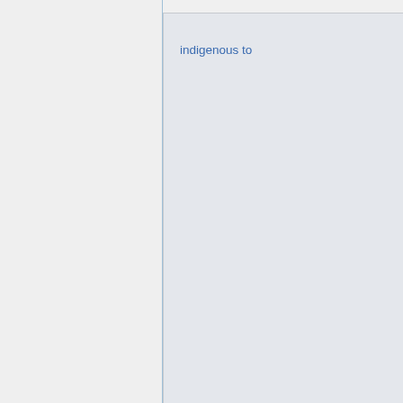indigenous to
Estonians
0 m
Estonia